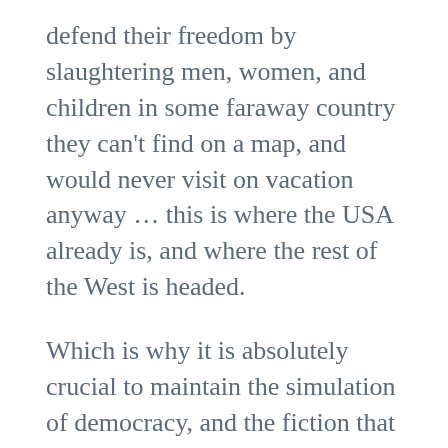defend their freedom by slaughtering men, women, and children in some faraway country they can't find on a map, and would never visit on vacation anyway … this is where the USA already is, and where the rest of the West is headed.
Which is why it is absolutely crucial to maintain the simulation of democracy, and the fiction that we're still living in a world where major geopolitical events are determined by sovereign nations and their leaders, rather than by global corporations and a class of supranational elites whose